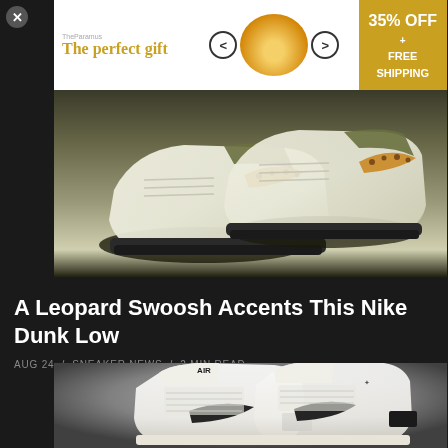[Figure (photo): Nike Dunk Low sneakers with leopard print swoosh, light cream and olive colorway, two shoes displayed]
[Figure (infographic): Advertisement banner: The perfect gift - 35% OFF + FREE SHIPPING with arrow navigation and product image]
A Leopard Swoosh Accents This Nike Dunk Low
AUG 24 / SNEAKER NEWS / 2 MIN READ
[Figure (photo): White Nike Air Jordan 1 high-top sneakers with black swoosh, shown as a pair on grey background]